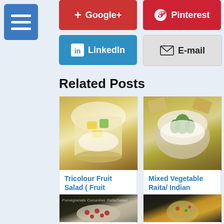[Figure (screenshot): Menu hamburger icon button (blue)]
[Figure (screenshot): Google+ social share button (red)]
[Figure (screenshot): Pinterest social share button (red)]
[Figure (screenshot): LinkedIn social share button (blue)]
[Figure (screenshot): E-mail social share button (gray)]
Related Posts
[Figure (photo): Tricolour Fruit Salad food photo]
Tricolour Fruit Salad ( Fruit
[Figure (photo): Mixed Vegetable Raita food photo]
Mixed Vegetable Raita/ Indian
[Figure (photo): Pomegranate Cucumber Raita/Salad food photo]
Pomegranate
[Figure (photo): How to cook food photo]
How to cook